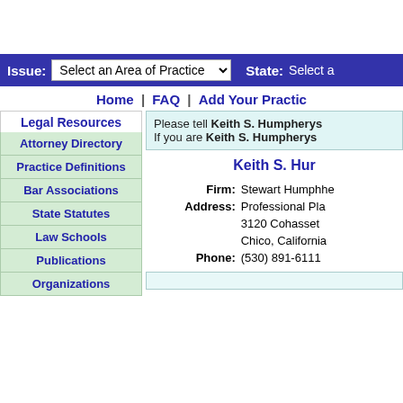Issue: Select an Area of Practice  State: Select a
Home | FAQ | Add Your Practice
Legal Resources
Attorney Directory
Practice Definitions
Bar Associations
State Statutes
Law Schools
Publications
Organizations
Please tell Keith S. Humpherys
If you are Keith S. Humpherys
Keith S. Hum
Firm: Stewart Humphhe
Address: Professional Pla
3120 Cohasset
Chico, California
Phone: (530) 891-6111